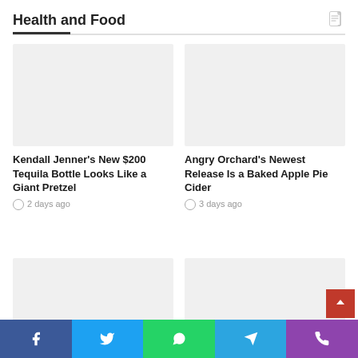Health and Food
[Figure (photo): Placeholder image for Kendall Jenner tequila bottle article]
Kendall Jenner's New $200 Tequila Bottle Looks Like a Giant Pretzel
2 days ago
[Figure (photo): Placeholder image for Angry Orchard cider article]
Angry Orchard's Newest Release Is a Baked Apple Pie Cider
3 days ago
[Figure (photo): Placeholder image for third article]
[Figure (photo): Placeholder image for fourth article]